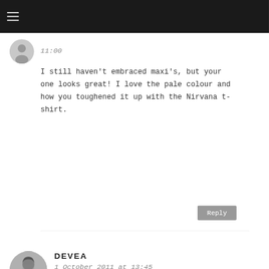11:00
I still haven't embraced maxi's, but your one looks great! I love the pale colour and how you toughened it up with the Nirvana t-shirt.
Reply
DEVEA
1 October 2011 at 13:45
I LOVE this maxi skirt, it's so perfect. Especially the color and